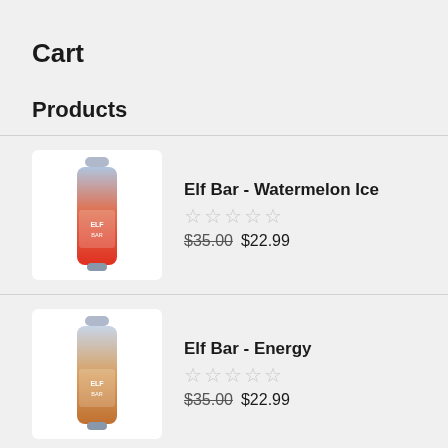Cart
Products
Elf Bar - Watermelon Ice, 5 stars empty, $35.00 $22.99
Elf Bar - Energy, 5 stars empty, $35.00 $22.99
Foodgod Vape - Frose Rose, 4 stars filled, $25.00 $14.99